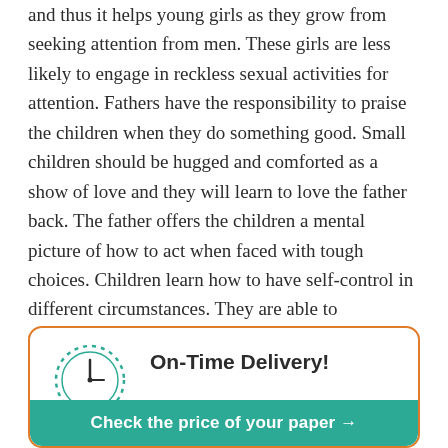and thus it helps young girls as they grow from seeking attention from men. These girls are less likely to engage in reckless sexual activities for attention. Fathers have the responsibility to praise the children when they do something good. Small children should be hugged and comforted as a show of love and they will learn to love the father back. The father offers the children a mental picture of how to act when faced with tough choices. Children learn how to have self-control in different circumstances. They are able to understand and react appropriately in different situations without harming anyone. This is carried on even as they become adults thus, they will not be involved in violent or criminal activities. (Gaddini 398)
[Figure (infographic): Advertisement box with orange border, clock icon, 'On-Time Delivery!' heading, and a teal call-to-action button reading 'Check the price of your paper →']